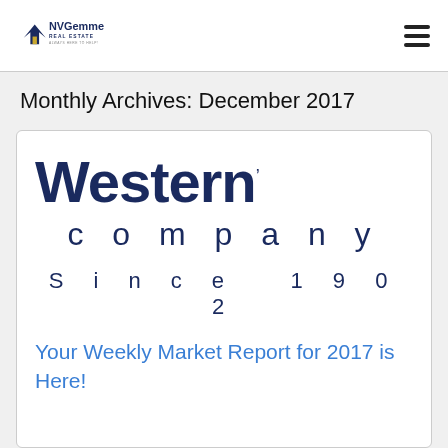NVGemme Real Estate
Monthly Archives: December 2017
[Figure (logo): Western Company Since 1902 logo with large bold 'Western' text and spaced 'company' below, followed by 'Since 1902']
Your Weekly Market Report for 2017 is Here!